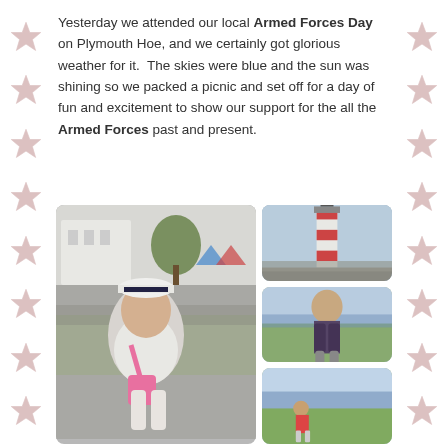Yesterday we attended our local Armed Forces Day on Plymouth Hoe, and we certainly got glorious weather for it.  The skies were blue and the sun was shining so we packed a picnic and set off for a day of fun and excitement to show our support for the all the Armed Forces past and present.
[Figure (photo): Collage of four photos from Armed Forces Day at Plymouth Hoe: a large photo of a young girl wearing a navy sailor hat with a pink Hello Kitty bag at an outdoor event with white buildings and tents in background; top right photo of the red-and-white striped Smeaton's Tower lighthouse with crowds below; middle right photo of a young boy standing on grass with sea in background; bottom right photo of a child on green grass with sea view.]